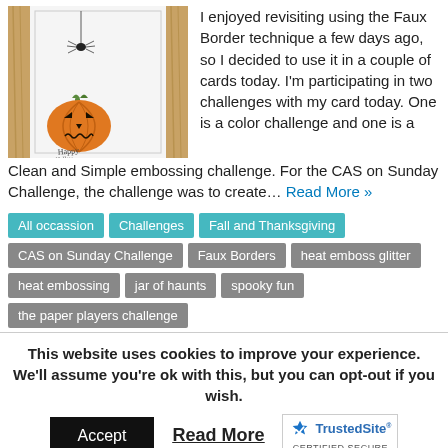[Figure (photo): A Halloween card on a wooden surface showing a carved pumpkin (jack-o-lantern) in orange with green stem, a spider hanging from the top, and partial handwritten text at the bottom reading 'Happy Halloween']
I enjoyed revisiting using the Faux Border technique a few days ago, so I decided to use it in a couple of cards today.  I'm participating in two challenges with my card today.  One is a color challenge and one is a Clean and Simple embossing challenge. For the CAS on Sunday Challenge, the challenge was to create… Read More »
All occassion
Challenges
Fall and Thanksgiving
CAS on Sunday Challenge
Faux Borders
heat emboss glitter
heat embossing
jar of haunts
spooky fun
the paper players challenge
This website uses cookies to improve your experience. We'll assume you're ok with this, but you can opt-out if you wish.
Accept
Read More
[Figure (logo): TrustedSite CERTIFIED SECURE logo with blue checkmark]